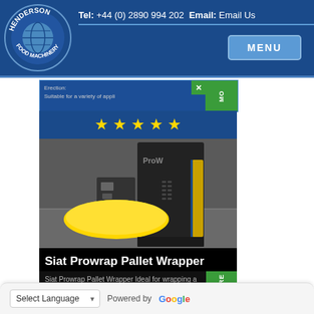Henderson Food Machinery - Tel: +44 (0) 2890 994 202 Email: Email Us
[Figure (logo): Henderson Food Machinery circular logo with globe graphic and company name around the border]
[Figure (screenshot): Partial ad banner with text 'Erection:' and 'Suitable for a variety of appli...' with green MORE and X close buttons]
[Figure (photo): Siat Prowrap Pallet Wrapper machine - large black industrial pallet wrapping machine with yellow pallet on floor, shown in warehouse setting. Five gold stars displayed at top. Product title 'Siat Prowrap Pallet Wrapper' and description 'Siat Prowrap Pallet Wrapper Ideal for wrapping a variety of' shown at bottom.]
Siat Prowrap Pallet Wrapper
Siat Prowrap Pallet Wrapper Ideal for wrapping a variety of
Select Language  Powered by Google